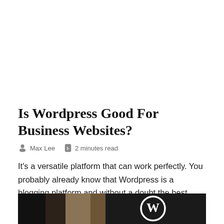Is Wordpress Good For Business Websites?
Max Lee   2 minutes read
It's a versatile platform that can work perfectly. You probably already know that Wordpress is a blogging platform and without a doubt the best blogging website on the Internet.
[Figure (photo): Person wearing a WordPress logo t-shirt, with a laptop visible in the background]